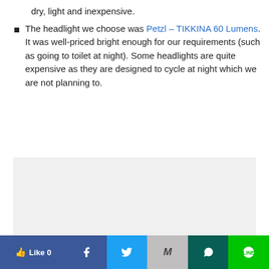dry, light and inexpensive.
The headlight we choose was Petzl – TIKKINA 60 Lumens. It was well-priced bright enough for our requirements (such as going to toilet at night). Some headlights are quite expensive as they are designed to cycle at night which we are not planning to.
[Figure (other): Gray placeholder box for an image]
Like 0 | Facebook share | Twitter share | Gmail share | WhatsApp share | LINE share